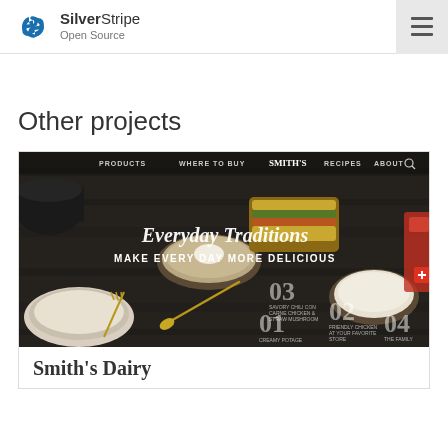SilverStripe Open Source
Other projects
[Figure (screenshot): Screenshot of Smith's Dairy website showing food photography with 'Everyday Traditions - Make Every Day More Delicious' hero text and navigation menu with Products, Where to Buy, Smith's, Recipes, About links]
Smith's Dairy